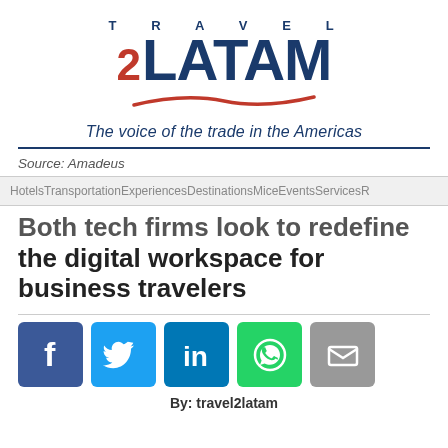[Figure (logo): Travel2Latam logo with 'TRAVEL' text above '2LATAM' in large bold letters, with a red swoosh underline]
The voice of the trade in the Americas
Source: Amadeus
HotelsTransportationExperiencesDestinationsMiceEventsServicesR
Both tech firms look to redefine the digital workspace for business travelers
[Figure (infographic): Social share buttons: Facebook, Twitter, LinkedIn, WhatsApp, Email]
By: travel2latam